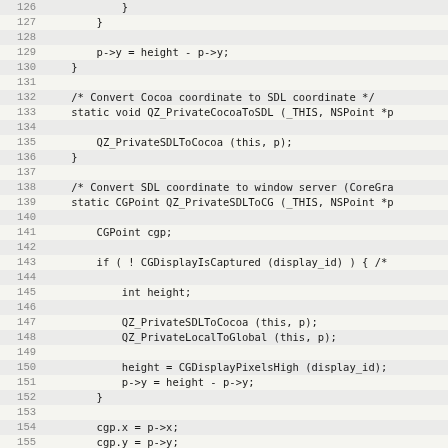[Figure (screenshot): Source code listing in monospace font showing C code for coordinate conversion functions (lines 126-157), with alternating light gray row backgrounds and line numbers on the left.]